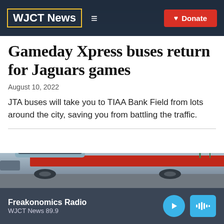WJCT News
Gameday Xpress buses return for Jaguars games
August 10, 2022
JTA buses will take you to TIAA Bank Field from lots around the city, saving you from battling the traffic.
[Figure (photo): A silver and red Gameday Xpress bus photographed from a low angle against a light sky with palm trees visible in the background.]
Freakonomics Radio
WJCT News 89.9